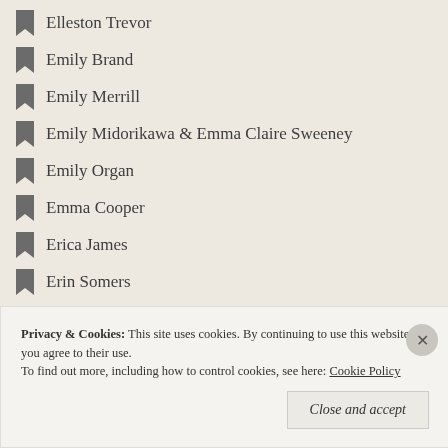Elleston Trevor
Emily Brand
Emily Merrill
Emily Midorikawa & Emma Claire Sweeney
Emily Organ
Emma Cooper
Erica James
Erin Somers
Evelyn Shillington
Evelyn Waugh
F M Mayor
Faith Martin
Faye Brann
Privacy & Cookies: This site uses cookies. By continuing to use this website, you agree to their use. To find out more, including how to control cookies, see here: Cookie Policy
Close and accept